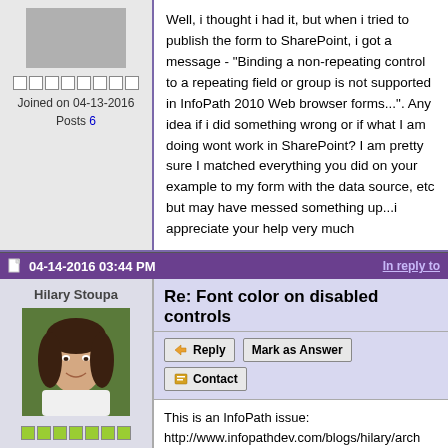Joined on 04-13-2016
Posts 6
Well, i thought i had it, but when i tried to publish the form to SharePoint, i got a message - "Binding a non-repeating control to a repeating field or group is not supported in InfoPath 2010 Web browser forms...". Any idea if i did something wrong or if what I am doing wont work in SharePoint? I am pretty sure I matched everything you did on your example to my form with the data source, etc but may have messed something up...i appreciate your help very much
04-14-2016 03:44 PM
In reply to
Hilary Stoupa
Re: Font color on disabled controls
Reply
Mark as Answer
Contact
This is an InfoPath issue: http://www.infopathdev.com/blogs/hilary/arch design-checker-errors-amp-print-